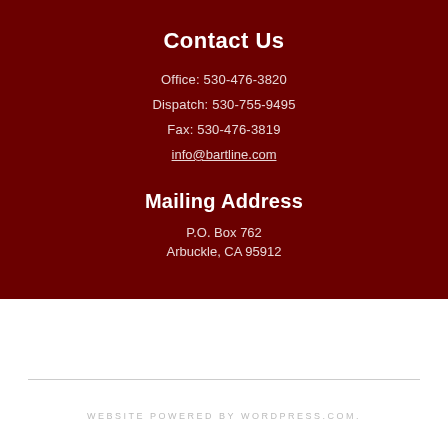Contact Us
Office: 530-476-3820
Dispatch: 530-755-9495
Fax: 530-476-3819
info@bartline.com
Mailing Address
P.O. Box 762
Arbuckle, CA 95912
WEBSITE POWERED BY WORDPRESS.COM.